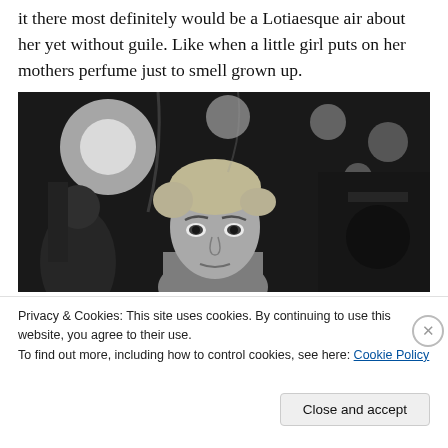it there most definitely would be a Lotiaesque air about her yet without guile. Like when a little girl puts on her mothers perfume just to smell grown up.
[Figure (photo): Black and white photograph of a young woman with short pixie-cut hair looking directly at the camera, surrounded by people and lights in the background, vintage style.]
Privacy & Cookies: This site uses cookies. By continuing to use this website, you agree to their use.
To find out more, including how to control cookies, see here: Cookie Policy
Close and accept